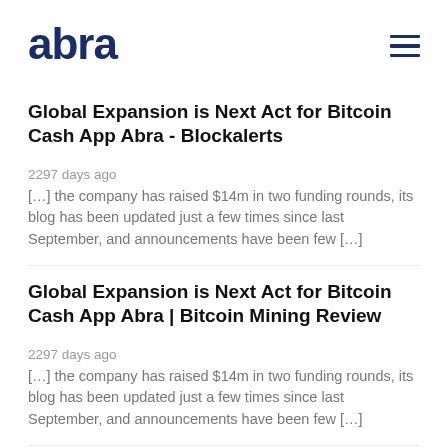abra
Global Expansion is Next Act for Bitcoin Cash App Abra - Blockalerts
2297 days ago
[…] the company has raised $14m in two funding rounds, its blog has been updated just a few times since last September, and announcements have been few […]
Global Expansion is Next Act for Bitcoin Cash App Abra | Bitcoin Mining Review
2297 days ago
[…] the company has raised $14m in two funding rounds, its blog has been updated just a few times since last September, and announcements have been few […]
Tom   2501 days ago